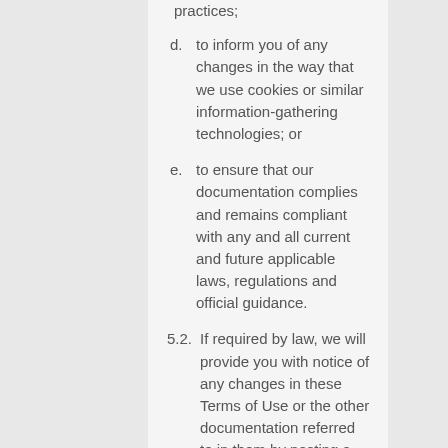practices;
d. to inform you of any changes in the way that we use cookies or similar information-gathering technologies; or
e. to ensure that our documentation complies and remains compliant with any and all current and future applicable laws, regulations and official guidance.
5.2. If required by law, we will provide you with notice of any changes in these Terms of Use or the other documentation referred to in them by posting a notice on the website and/or by posting an updated version of the Terms of Use on the